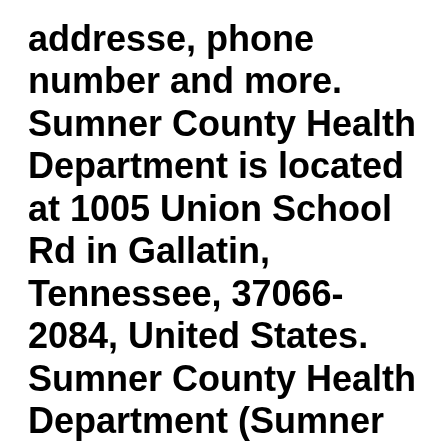addresse, phone number and more. Sumner County Health Department is located at 1005 Union School Rd in Gallatin, Tennessee, 37066-2084, United States. Sumner County Health Department (Sumner County Health Department) main phone number is 615-206-1100,